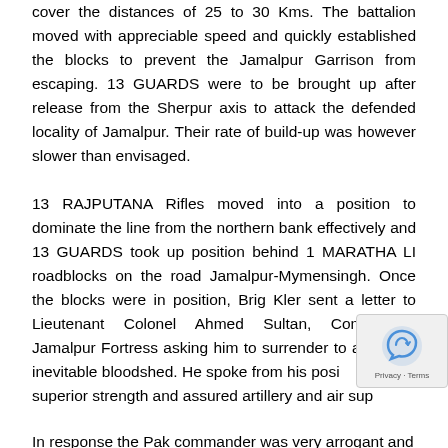cover the distances of 25 to 30 Kms. The battalion moved with appreciable speed and quickly established the blocks to prevent the Jamalpur Garrison from escaping. 13 GUARDS were to be brought up after release from the Sherpur axis to attack the defended locality of Jamalpur. Their rate of build-up was however slower than envisaged.
13 RAJPUTANA Rifles moved into a position to dominate the line from the northern bank effectively and 13 GUARDS took up position behind 1 MARATHA LI roadblocks on the road Jamalpur-Mymensingh. Once the blocks were in position, Brig Kler sent a letter to Lieutenant Colonel Ahmed Sultan, Commander Jamalpur Fortress asking him to surrender to avoid the inevitable bloodshed. He spoke from his position of superior strength and assured artillery and air sup...
In response the Pak commander was very arrogant and